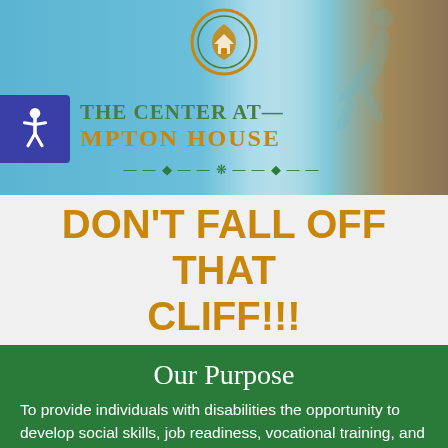[Figure (logo): The Center at Hampton House logo — circular emblem with heart and house icon in gold/green, with organization name below. Accessibility symbol badge on left. Background shows blue sky and rocky landscape with runner silhouette.]
DON'T FALL OFF THAT CLIFF!!!
Our Purpose
To provide individuals with disabilities the opportunity to develop social skills, job readiness, vocational training, and independent living skills within a supportive